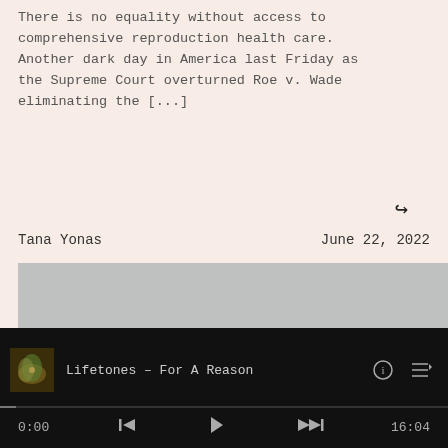There is no equality without access to comprehensive reproduction health care. Another dark day in America last Friday as the Supreme Court overturned Roe v. Wade eliminating the [...]
↳
Tana Yonas
June 22, 2022
[Figure (photo): Gray placeholder image area representing a photo or video thumbnail]
[Figure (screenshot): Media player bar showing: album art thumbnail (dark gold/green leaf motif), song title 'Lifetones - For A Reason', info icon, playlist icon, progress bar near start, time 0:00, skip-back button, play button, skip-forward/pause button, time 16:04]